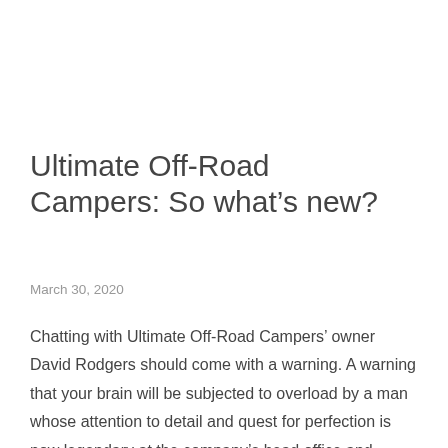Ultimate Off-Road Campers: So what's new?
March 30, 2020
Chatting with Ultimate Off-Road Campers’ owner David Rodgers should come with a warning. A warning that your brain will be subjected to overload by a man whose attention to detail and quest for perfection is now legendary at the company’s head office and showroom in